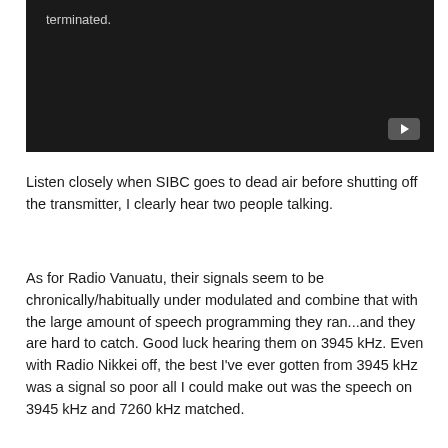[Figure (screenshot): Dark/black video player thumbnail with a YouTube play button icon in the bottom-right corner. Text 'terminated.' visible in upper-left area of the dark video frame.]
Listen closely when SIBC goes to dead air before shutting off the transmitter, I clearly hear two people talking.
As for Radio Vanuatu, their signals seem to be chronically/habitually under modulated and combine that with the large amount of speech programming they ran...and they are hard to catch. Good luck hearing them on 3945 kHz. Even with Radio Nikkei off, the best I've ever gotten from 3945 kHz was a signal so poor all I could make out was the speech on 3945 kHz and 7260 kHz matched.